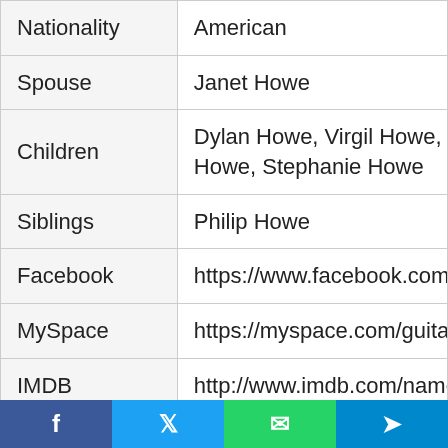| Field | Value |
| --- | --- |
| Nationality | American |
| Spouse | Janet Howe |
| Children | Dylan Howe, Virgil Howe, Howe, Stephanie Howe |
| Siblings | Philip Howe |
| Facebook | https://www.facebook.com/... |
| MySpace | https://myspace.com/guita... |
| IMDB | http://www.imdb.com/name... |
| Allmusic | http://www.allmusic.com/ar... howe-mn0000036537 |
|  | Owner of a Lonely Heart, R... |
f  Twitter  WhatsApp  Telegram